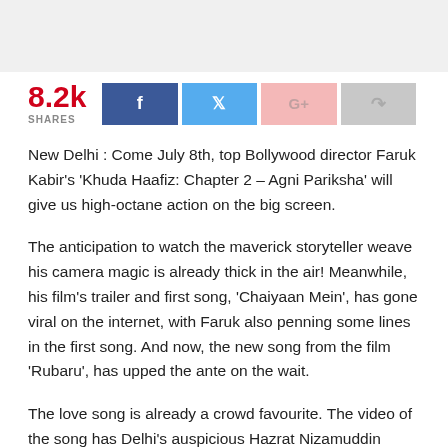[Figure (photo): Top image area placeholder (gray/light background)]
8.2k SHARES
New Delhi : Come July 8th, top Bollywood director Faruk Kabir's 'Khuda Haafiz: Chapter 2 – Agni Pariksha' will give us high-octane action on the big screen.
The anticipation to watch the maverick storyteller weave his camera magic is already thick in the air! Meanwhile, his film's trailer and first song, 'Chaiyaan Mein', has gone viral on the internet, with Faruk also penning some lines in the first song. And now, the new song from the film 'Rubaru', has upped the ante on the wait.
The love song is already a crowd favourite. The video of the song has Delhi's auspicious Hazrat Nizamuddin